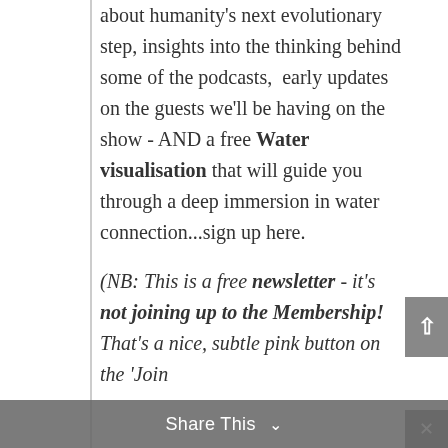about humanity's next evolutionary step, insights into the thinking behind some of the podcasts, early updates on the guests we'll be having on the show - AND a free Water visualisation that will guide you through a deep immersion in water connection...sign up here.

(NB: This is a free newsletter - it's not joining up to the Membership! That's a nice, subtle pink button on the 'Join
Share This ∨